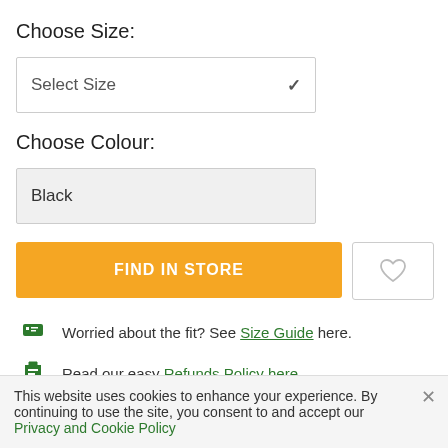Choose Size:
Select Size
Choose Colour:
Black
FIND IN STORE
Worried about the fit? See Size Guide here.
Read our easy Refunds Policy here.
Please allow 2-5 business days for delivery
Transact securely with multiple payment options
This website uses cookies to enhance your experience. By continuing to use the site, you consent to and accept our Privacy and Cookie Policy